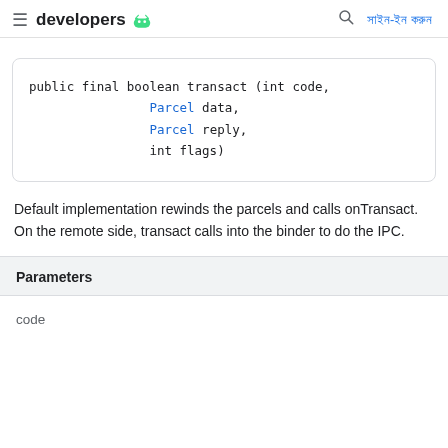developers  সাইন-ইন করুন
Default implementation rewinds the parcels and calls onTransact. On the remote side, transact calls into the binder to do the IPC.
| Parameters |
| --- |
| code |